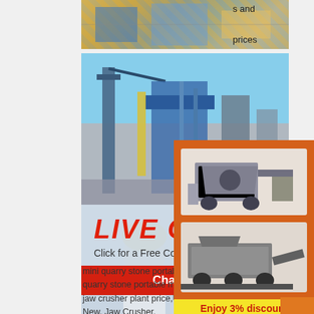[Figure (photo): Aerial view of quarry/industrial equipment, partially visible at top]
s and prices in uk ...
[Figure (photo): Industrial plant with blue steel structures and cranes]
[Figure (photo): Live chat overlay with construction workers wearing yellow hard hats. Title: LIVE CHAT. Subtitle: Click for a Free Consultation. Buttons: Chat now, Chat later]
mini quarry stone portable mobile jaw crusher .. mini quarry stone portable mobile jaw crusher plant price,US $ 19,000 - 190,000 / Set, New, Jaw Crusher,
[Figure (photo): Orange sidebar with crusher machine images, discount banner, enquiry section]
Enjoy 3% discount
Click to Chat
Enquiry
mumumugoods@gmail.com
More
Get Price